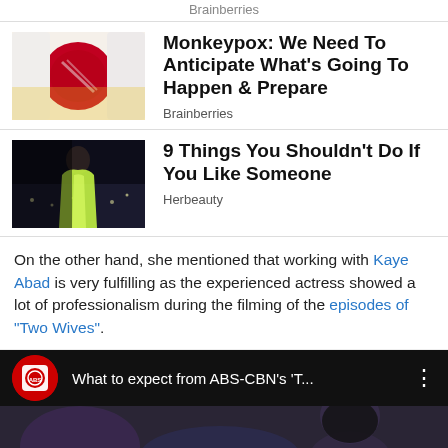Brainberries
[Figure (photo): Gloved hands holding a red petri dish]
Monkeypox: We Need To Anticipate What's Going To Happen & Prepare
Brainberries
[Figure (photo): Woman in yellow-green dress posing at night]
9 Things You Shouldn't Do If You Like Someone
Herbeauty
On the other hand, she mentioned that working with Kaye Abad is very fulfilling as the experienced actress showed a lot of professionalism during the filming of the episodes of "Two Wives".
[Figure (screenshot): ABS-CBN News video: What to expect from ABS-CBN's 'T...']